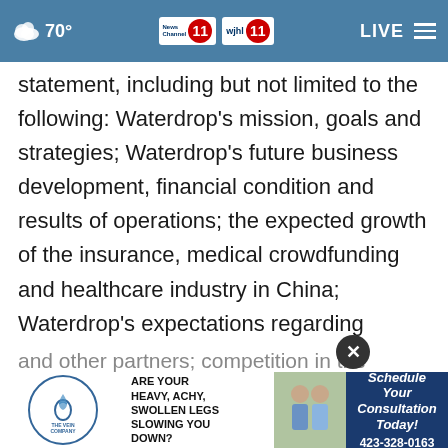70° | News Channel 11 WJHL 11 | LIVE
statement, including but not limited to the following: Waterdrop's mission, goals and strategies; Waterdrop's future business development, financial condition and results of operations; the expected growth of the insurance, medical crowdfunding and healthcare industry in China; Waterdrop's expectations regarding demand for and market acceptance of our products and services; Waterdrop's expectations regarding its relationships with carriers and other partners; competition in the industry
[Figure (advertisement): Ad banner for The Vein Company with text: ARE YOUR HEAVY, ACHY, SWOLLEN LEGS SLOWING YOU DOWN? Schedule Your Consultation Today! 423-328-0163]